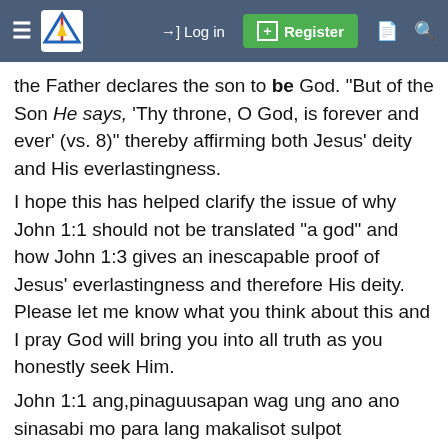Log in  Register
the Father declares the son to be God. "But of the Son He says, 'Thy throne, O God, is forever and ever' (vs. 8)" thereby affirming both Jesus' deity and His everlastingness.
I hope this has helped clarify the issue of why John 1:1 should not be translated "a god" and how John 1:3 gives an inescapable proof of Jesus' everlastingness and therefore His deity. Please let me know what you think about this and I pray God will bring you into all truth as you honestly seek Him.
John 1:1 ang,pinaguusapan wag ung ano ano sinasabi mo para lang makalisot sulpot
Cerebellum said: ⊕